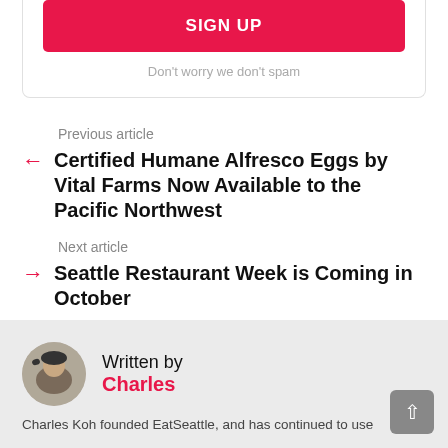SIGN UP
Don't worry we don't spam
Previous article
Certified Humane Alfresco Eggs by Vital Farms Now Available to the Pacific Northwest
Next article
Seattle Restaurant Week is Coming in October
Written by
Charles
Charles Koh founded EatSeattle, and has continued to use